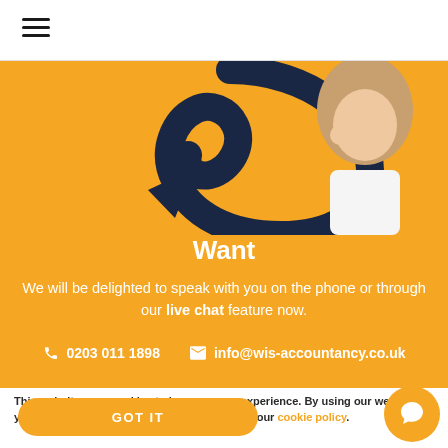Navigation menu (hamburger icon)
[Figure (illustration): Illustration of a curved arrow shape (navy blue) pointing downward-left, with a partial image of a woman with long hair in a white top on the right side, on an orange background.]
Want
We will be delighted to speak with you on the phone or through our live chat feature now.
📞 0203 011 1898   ✉ info@wis-accountancy.co.uk
This website uses cookies to improve user experience. By using our website you consent to all cookies in accordance with our cookie policy.
GOT IT